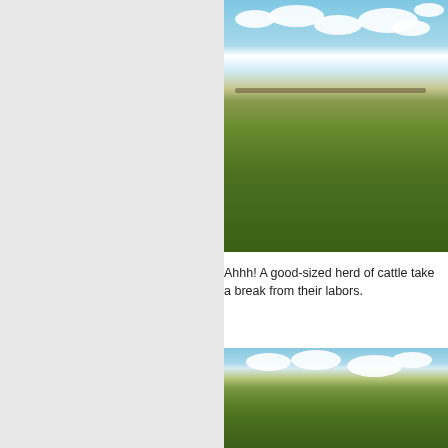[Figure (photo): Wide grassland pasture with a herd of cattle visible in the distance near the horizon under a partly cloudy blue sky. Green grass extends across the entire foreground.]
Ahhh! A good-sized herd of cattle tak... from their labors.
[Figure (photo): Wide open grassland prairie landscape under a partly cloudy sky with a distant horizon. Green grass covers the rolling terrain with minimal elevation change.]